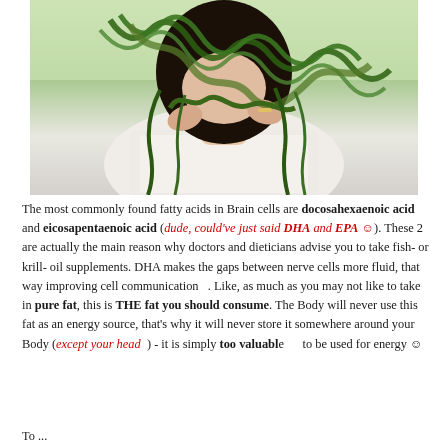[Figure (photo): A person with dark hair holding green seaweed/algae up near their face, wearing a white lace garment. Light green background.]
The most commonly found fatty acids in Brain cells are docosahexaenoic acid and eicosapentaenoic acid (dude, could've just said DHA and EPA ☺). These 2 are actually the main reason why doctors and dieticians advise you to take fish- or krill- oil supplements. DHA makes the gaps between nerve cells more fluid, that way improving cell communication   . Like, as much as you may not like to take in pure fat, this is THE fat you should consume. The Body will never use this fat as an energy source, that's why it will never store it somewhere around your Body (except your head  ) - it is simply too valuable      to be used for energy ☺
To ...